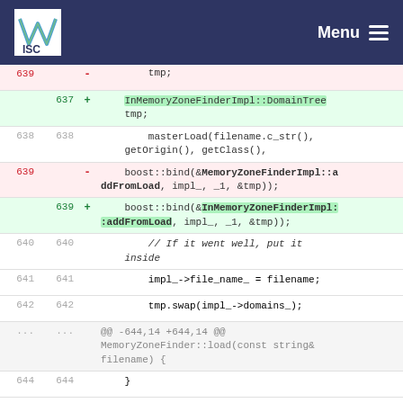ISC Menu
[Figure (screenshot): Code diff view showing changes to MemoryZoneFinder implementation. Lines 637-644 shown with deletions (red) and additions (green). Deleted line 639 shows boost::bind(&MemoryZoneFinderImpl::addFromLoad, impl_, _1, &tmp)); and added line 639 shows boost::bind(&InMemoryZoneFinderImpl::addFromLoad, impl_, _1, &tmp));]